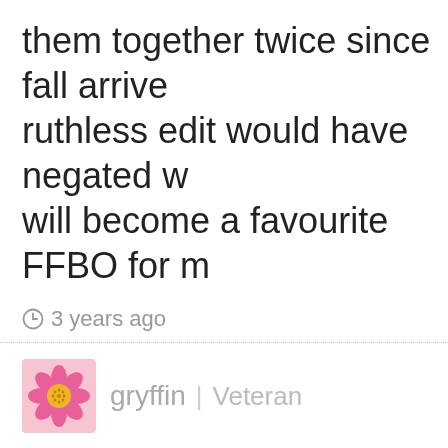them together twice since fall arrive ruthless edit would have negated w will become a favourite FFBO for m
3 years ago
[Figure (photo): Pink flower avatar for user gryffin]
gryffin | Veteran
Elizabeth – there is something to be said for going with your gut on som things! Well done for finding the pe